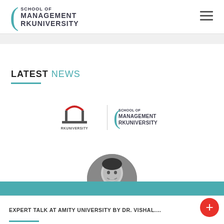[Figure (logo): School of Management RKUniversity logo with teal bracket and text]
[Figure (logo): Hamburger menu icon (three horizontal lines)]
LATEST NEWS
[Figure (logo): RKUniversity logo and School of Management RKUniversity logo side by side with a vertical divider]
[Figure (photo): Circular black and white portrait photo of Dr. Vishal, smiling man in formal attire]
EXPERT TALK AT AMITY UNIVERSITY BY DR. VISHAL....